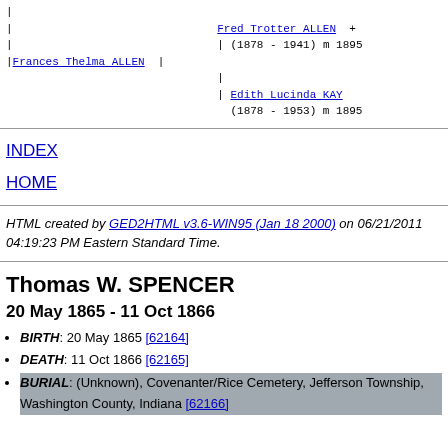Fred Trotter ALLEN + (1878 - 1941) m 1895 | Frances Thelma ALLEN | Edith Lucinda KAY (1878 - 1953) m 1895
INDEX
HOME
HTML created by GED2HTML v3.6-WIN95 (Jan 18 2000) on 06/21/2011 04:19:23 PM Eastern Standard Time.
Thomas W. SPENCER
20 May 1865 - 11 Oct 1866
BIRTH: 20 May 1865 [62164]
DEATH: 11 Oct 1866 [62165]
BURIAL: (Unknown), Covenanter/Rice Cemetery, Jefferson Township, Washington County, Indiana [62166]